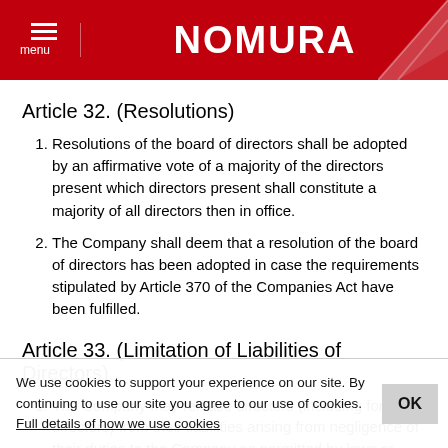NOMURA
Article 32. (Resolutions)
Resolutions of the board of directors shall be adopted by an affirmative vote of a majority of the directors present which directors present shall constitute a majority of all directors then in office.
The Company shall deem that a resolution of the board of directors has been adopted in case the requirements stipulated by Article 370 of the Companies Act have been fulfilled.
Article 33. (Limitation of Liabilities of Directors)
The Company may release directors (including former directors) from their liabilities arising from negligence of their duties to the Company as permitted by laws or ordinances by resolutions of board of directors pursuant to the provision of Article 426, Paragraph 1 of the Companies Act.
The Company may execute with directors (excluding a person who executes business) agreements limiting their liabilities
We use cookies to support your experience on our site. By continuing to use our site you agree to our use of cookies. Full details of how we use cookies